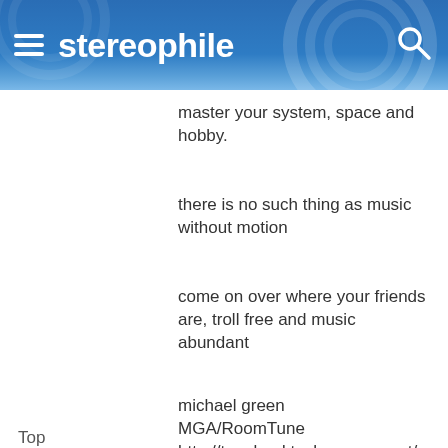stereophile
master your system, space and hobby.
there is no such thing as music without motion
come on over where your friends are, troll free and music abundant
michael green
MGA/RoomTune
http://tuneland.techno-zone.net/
Top